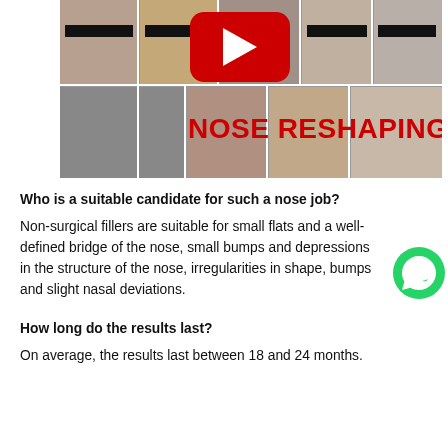[Figure (photo): Collage of nose reshaping before/after patient photos arranged in a grid, with a YouTube play button icon overlaid in the center. Text 'NOSE RESHAPING' in bold red is overlaid on the lower right of the collage.]
Who is a suitable candidate for such a nose job?
Non-surgical fillers are suitable for small flats and a well-defined bridge of the nose, small bumps and depressions in the structure of the nose, irregularities in shape, bumps and slight nasal deviations.
How long do the results last?
On average, the results last between 18 and 24 months.